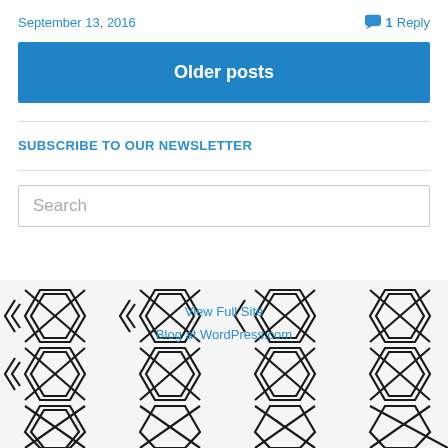September 13, 2016  1 Reply
Older posts
SUBSCRIBE TO OUR NEWSLETTER
Search
[Figure (illustration): Geometric hexagon pattern background in black and white, forming a repeating angular design across the footer area]
View Full Site
Blog at WordPress.com